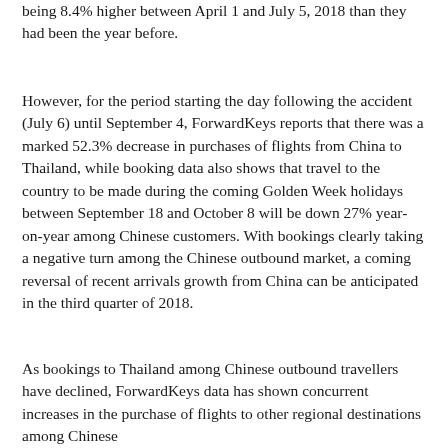being 8.4% higher between April 1 and July 5, 2018 than they had been the year before.
However, for the period starting the day following the accident (July 6) until September 4, ForwardKeys reports that there was a marked 52.3% decrease in purchases of flights from China to Thailand, while booking data also shows that travel to the country to be made during the coming Golden Week holidays between September 18 and October 8 will be down 27% year-on-year among Chinese customers. With bookings clearly taking a negative turn among the Chinese outbound market, a coming reversal of recent arrivals growth from China can be anticipated in the third quarter of 2018.
As bookings to Thailand among Chinese outbound travellers have declined, ForwardKeys data has shown concurrent increases in the purchase of flights to other regional destinations among Chinese